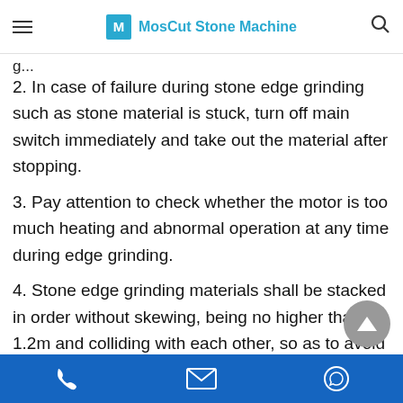MosCut Stone Machine
2. In case of failure during stone edge grinding such as stone material is stuck, turn off main switch immediately and take out the material after stopping.
3. Pay attention to check whether the motor is too much heating and abnormal operation at any time during edge grinding.
4. Stone edge grinding materials shall be stacked in order without skewing, being no higher than 1.2m and colliding with each other, so as to avoid slipping and hurting people.
Contact icons: phone, email, chat